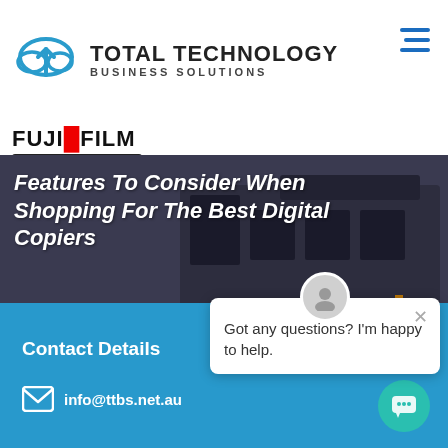[Figure (logo): Total Technology Business Solutions logo with cloud icon and text]
[Figure (logo): FUJIFILM logo and FUJIFILM Business Innovation Authorised Reseller badge]
[Figure (photo): Hero banner showing digital copier/printer machines with overlaid italic white text: Features To Consider When Shopping For The Best Digital Copiers]
Features To Consider When Shopping For The Best Digital Copiers
Got any questions? I'm happy to help.
Contact Details
info@ttbs.net.au